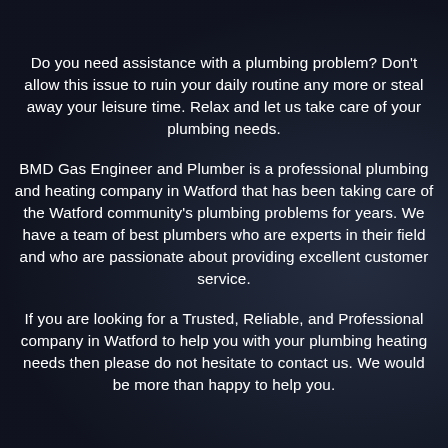Do you need assistance with a plumbing problem? Don't allow this issue to ruin your daily routine any more or steal away your leisure time. Relax and let us take care of your plumbing needs.
BMD Gas Engineer and Plumber is a professional plumbing and heating company in Watford that has been taking care of the Watford community's plumbing problems for years. We have a team of best plumbers who are experts in their field and who are passionate about providing excellent customer service.
If you are looking for a Trusted, Reliable, and Professional company in Watford to help you with your plumbing heating needs then please do not hesitate to contact us. We would be more than happy to help you.